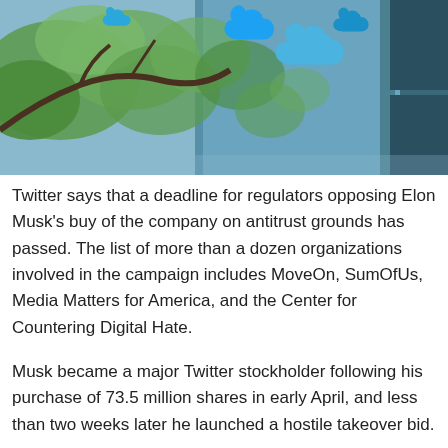[Figure (photo): Photo of Twitter headquarters building exterior showing multiple Twitter bird logos on a blue-gray wall, with tree branches and green leaves in the foreground.]
Twitter says that a deadline for regulators opposing Elon Musk's buy of the company on antitrust grounds has passed. The list of more than a dozen organizations involved in the campaign includes MoveOn, SumOfUs, Media Matters for America, and the Center for Countering Digital Hate.
Musk became a major Twitter stockholder following his purchase of 73.5 million shares in early April, and less than two weeks later he launched a hostile takeover bid.
The SEC has asked Musk to explain why he didn't disclose within a required 10-day time period his increased stake in